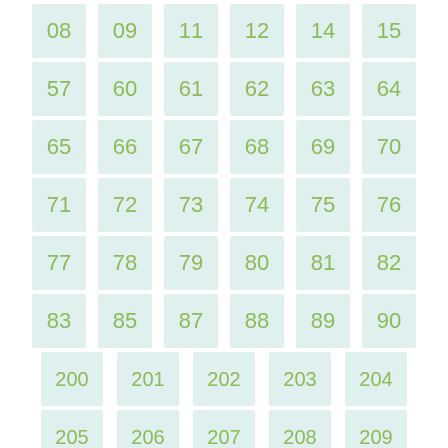[Figure (infographic): Grid of numbered tiles with light blue/mint background and olive-green numbers arranged in rows: Row1: 08,09,11,12,14,15; Row2: 57,60,61,62,63,64; Row3: 65,66,67,68,69,70; Row4: 71,72,73,74,75,76; Row5: 77,78,79,80,81,82; Row6: 83,85,87,88,89,90; Row7: 200,201,202,203,204; Row8: 205,206,207,208,209]